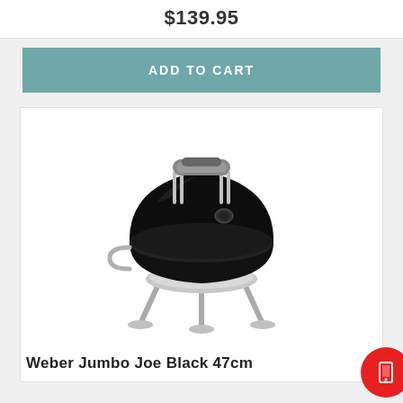$139.95
ADD TO CART
[Figure (photo): Weber Jumbo Joe Black 47cm charcoal grill with black enamel dome lid, chrome handle, and silver legs on white background]
Weber Jumbo Joe Black 47cm